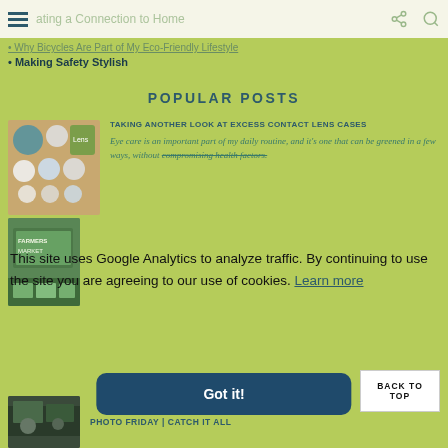ating a Connection to Home
Why Bicycles Are Part of My Eco-Friendly Lifestyle
Making Safety Stylish
POPULAR POSTS
[Figure (photo): Contact lens cases arranged on a wooden surface]
TAKING ANOTHER LOOK AT EXCESS CONTACT LENS CASES
Eye care is an important part of my daily routine, and it's one that can be greened in a few ways, without compromising health factors.
This site uses Google Analytics to analyze traffic. By continuing to use the site you are agreeing to our use of cookies.  Learn more
Got it!
[Figure (photo): Farmers market or outdoor market sign]
BACK TO TOP
[Figure (photo): Photo Friday catch it all thumbnail]
PHOTO FRIDAY | CATCH IT ALL